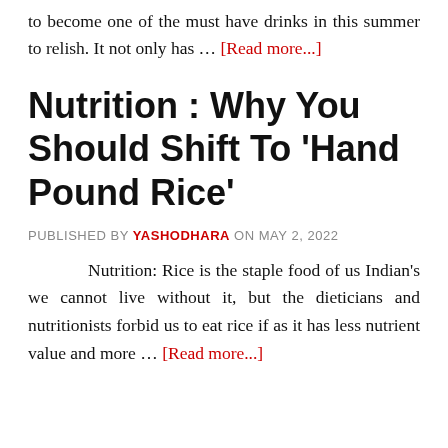to become one of the must have drinks in this summer to relish. It not only has … [Read more...]
Nutrition : Why You Should Shift To 'Hand Pound Rice'
PUBLISHED BY YASHODHARA ON MAY 2, 2022
Nutrition: Rice is the staple food of us Indian's we cannot live without it, but the dieticians and nutritionists forbid us to eat rice if as it has less nutrient value and more … [Read more...]